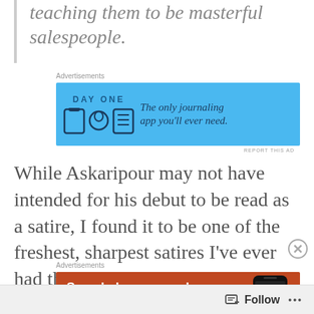teaching them to be masterful salespeople.
Advertisements
[Figure (other): Day One journaling app advertisement banner on blue background with text: The only journaling app you'll ever need.]
While Askaripour may not have intended for his debut to be read as a satire, I found it to be one of the freshest, sharpest satires I've ever had the pleasure of reading. The story was laugh-
Advertisements
[Figure (other): DuckDuckGo advertisement banner on orange/red background: Search, browse, and email with more privacy.]
Follow   ...